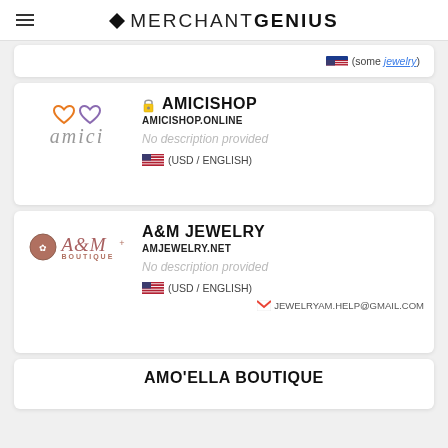MERCHANTGENIUS
(some jewelry) [partial, top card]
AMICISHOP
AMICISHOP.ONLINE
No description provided
(USD / ENGLISH)
A&M JEWELRY
AMJEWELRY.NET
No description provided
(USD / ENGLISH)
JEWELRYAM.HELP@GMAIL.COM
AMO'ELLA BOUTIQUE